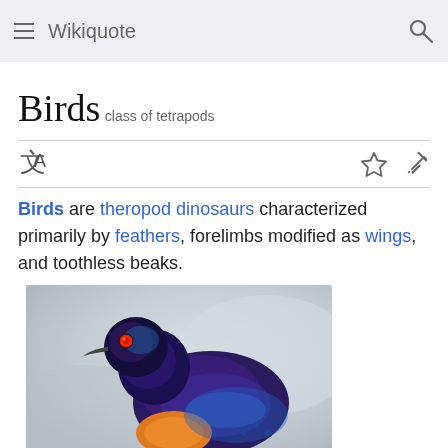Wikiquote
Birds
class of tetrapods
Birds are theropod dinosaurs characterized primarily by feathers, forelimbs modified as wings, and toothless beaks.
[Figure (photo): A colorful bird (starling) with iridescent blue-purple plumage and orange breast, photographed against a blurred grey background.]